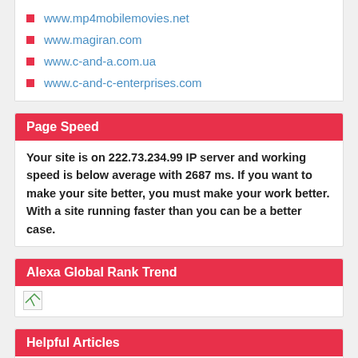www.mp4mobilemovies.net
www.magiran.com
www.c-and-a.com.ua
www.c-and-c-enterprises.com
Page Speed
Your site is on 222.73.234.99 IP server and working speed is below average with 2687 ms. If you want to make your site better, you must make your work better. With a site running faster than you can be a better case.
Alexa Global Rank Trend
[Figure (other): Broken/missing image placeholder for Alexa Global Rank Trend chart]
Helpful Articles
What is the effect of Pagerank rankings?...